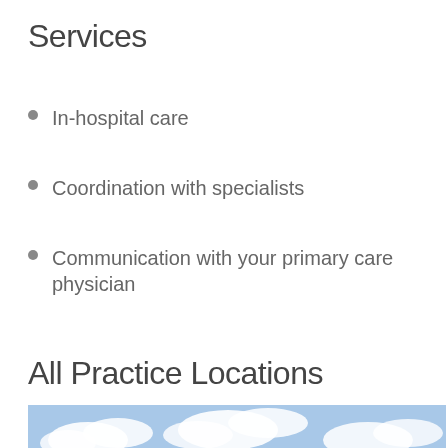Services
In-hospital care
Coordination with specialists
Communication with your primary care physician
All Practice Locations
[Figure (photo): Exterior photo of a multi-story hospital or medical office building complex with blue roof accents and large windows under a partly cloudy sky.]